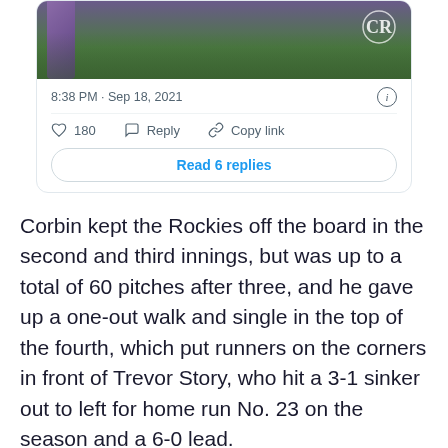[Figure (screenshot): Tweet card showing a baseball image with Colorado Rockies logo, timestamp 8:38 PM Sep 18 2021, 180 likes, Reply and Copy link actions, and a Read 6 replies button]
Corbin kept the Rockies off the board in the second and third innings, but was up to a total of 60 pitches after three, and he gave up a one-out walk and single in the top of the fourth, which put runners on the corners in front of Trevor Story, who hit a 3-1 sinker out to left for home run No. 23 on the season and a 6-0 lead.